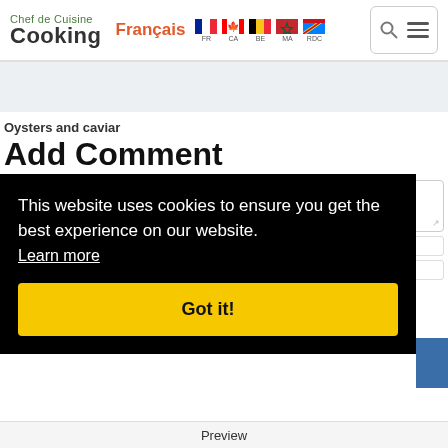Chef de Cuisine Cooking | Français | FR CA BE MA RDC
[Figure (screenshot): Navigation header with Chef de Cuisine Cooking logo, Français link, country flags (FR, CA, BE, MA, RDC), search and menu icons]
Oysters and caviar
Add Comment
* Enter your comment here ..
This website uses cookies to ensure you get the best experience on our website.
Learn more
Got it!
Preview